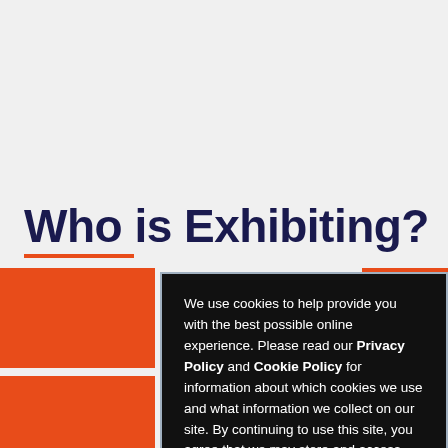Who is Exhibiting?
We use cookies to help provide you with the best possible online experience. Please read our Privacy Policy and Cookie Policy for information about which cookies we use and what information we collect on our site. By continuing to use this site, you agree that we may store and access cookies on your device.
I AGREE